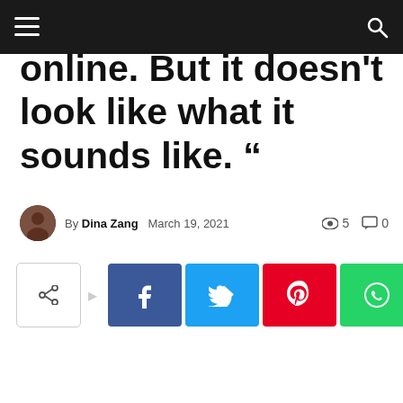Navigation bar with menu and search icons
online. But it doesn't look like what it sounds like. “
By Dina Zang   March 19, 2021   5   0
[Figure (other): Social share buttons row: share icon box, arrow, Facebook (blue), Twitter (light blue), Pinterest (red), WhatsApp (green)]